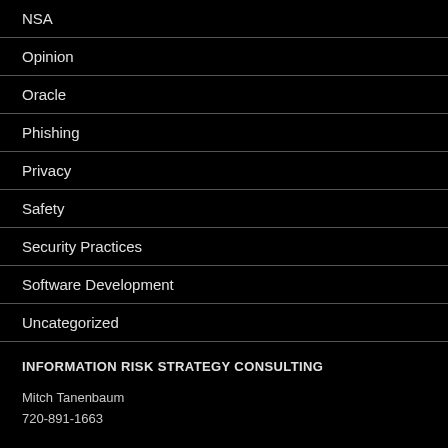NSA
Opinion
Oracle
Phishing
Privacy
Safety
Security Practices
Software Development
Uncategorized
INFORMATION RISK STRATEGY CONSULTING
Mitch Tanenbaum
720-891-1663